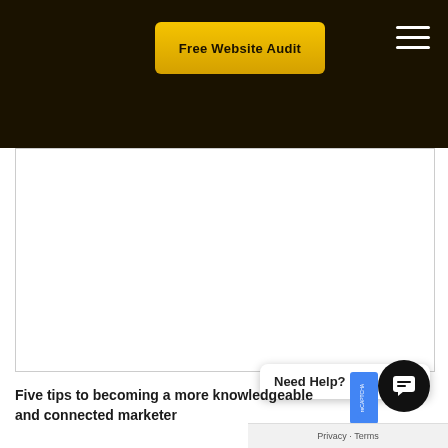Free Website Audit
[Figure (screenshot): White content area box with border, likely containing embedded media or advertisement]
Need Help?
Five tips to becoming a more knowledgeable and connected marketer